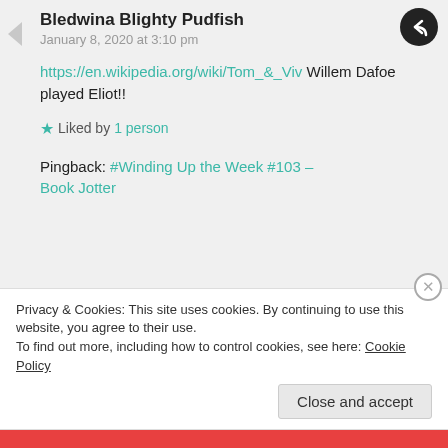Bledwina Blighty Pudfish
January 8, 2020 at 3:10 pm
https://en.wikipedia.org/wiki/Tom_&_Viv Willem Dafoe played Eliot!!
★ Liked by 1 person
Pingback: #Winding Up the Week #103 – Book Jotter
Christopher | Plucked from the Stacks
Privacy & Cookies: This site uses cookies. By continuing to use this website, you agree to their use.
To find out more, including how to control cookies, see here: Cookie Policy